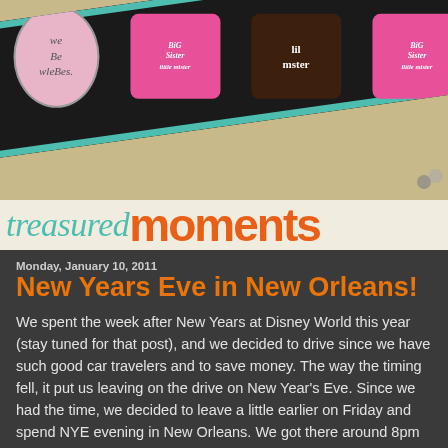[Figure (photo): Blog header image showing children in pink and brown t-shirts with 'Big Sister lil mister' text, with a 'we be wiebes' oval logo on the left, on a diagonal dark strip over a tan background]
treasured moments
Monday, January 10, 2011
New Years Eve in New Orleans!
We spent the week after New Years at Disney World this year (stay tuned for that post), and we decided to drive since we have such good car travelers and to save money. The way the timing fell, it put us leaving on the drive on New Year's Eve. Since we had the time, we decided to leave a little earlier on Friday and spend NYE evening in New Orleans. We got there around 8pm and hit up Bourbon Street. That's right, kids and all. :) We walked the street for a